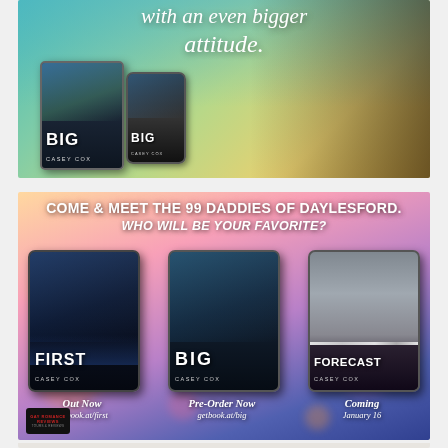[Figure (illustration): Top promotional banner for book 'BIG' by Casey Cox. Shows tablet and phone displaying the book cover against a teal/green cityscape background, with italic script text reading 'with an even bigger attitude.' at the top. A shirtless muscular man is visible on the right side.]
[Figure (illustration): Bottom promotional banner showing three book covers (FIRST, BIG, FORECAST all by Casey Cox) on tablet devices against a purple/pink bokeh background. Text reads 'COME & MEET THE 99 DADDIES OF DAYLESFORD. WHO WILL BE YOUR FAVORITE?' with availability info: 'Out Now getbook.at/first', 'Pre-Order Now getbook.at/big', 'Coming January 16'. Gay Romance Reviews logo visible bottom left.]